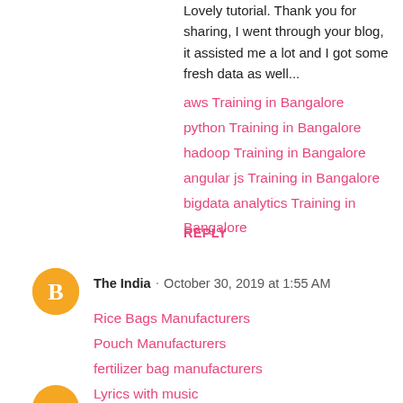Lovely tutorial. Thank you for sharing, I went through your blog, it assisted me a lot and I got some fresh data as well...
aws Training in Bangalore
python Training in Bangalore
hadoop Training in Bangalore
angular js Training in Bangalore
bigdata analytics Training in Bangalore
REPLY
[Figure (logo): Orange circle with white letter B (Blogger icon)]
The India · October 30, 2019 at 1:55 AM
Rice Bags Manufacturers
Pouch Manufacturers
fertilizer bag manufacturers
Lyrics with music
REPLY
[Figure (logo): Orange circle avatar partially visible at bottom]